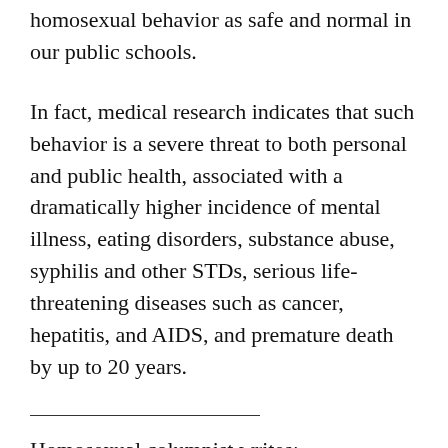homosexual behavior as safe and normal in our public schools.
In fact, medical research indicates that such behavior is a severe threat to both personal and public health, associated with a dramatically higher incidence of mental illness, eating disorders, substance abuse, syphilis and other STDs, serious life-threatening diseases such as cancer, hepatitis, and AIDS, and premature death by up to 20 years.
Homosexual columnist writes: